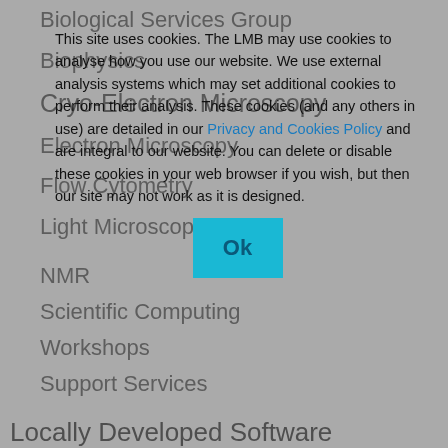Biological Services Group
Biophysics
Electron Microscopy
Flow Cytometry
Light Microscopy
Mass Spectrometry
Nanobody
NMR
Scientific Computing
Workshops
Support Services
Locally Developed Software
Scientific Training
Published Research
This site uses cookies. The LMB may use cookies to analyse how you use our website. We use external analysis systems which may set additional cookies to perform their analysis. These cookies (and any others in use) are detailed in our Privacy and Cookies Policy and are integral to our website. You can delete or disable these cookies in your web browser if you wish, but then our site may not work as it is designed.